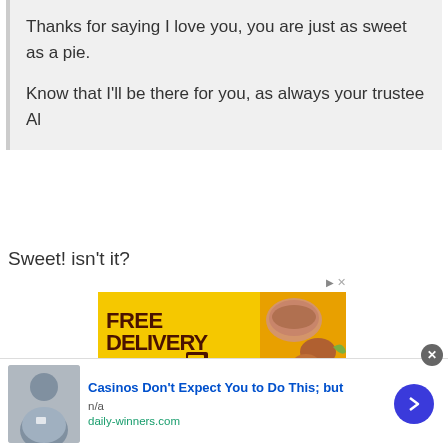Thanks for saying I love you, you are just as sweet as a pie.

Know that I'll be there for you, as always your trustee Al
Sweet! isn't it?
[Figure (screenshot): Free Delivery advertisement banner with yellow background, dark brown text reading FREE DELIVERY with a delivery truck icon and food images]
[Figure (screenshot): Bottom advertisement bar: Casinos Don't Expect You to Do This; but — n/a — daily-winners.com, with a photo of a man and a blue arrow button]